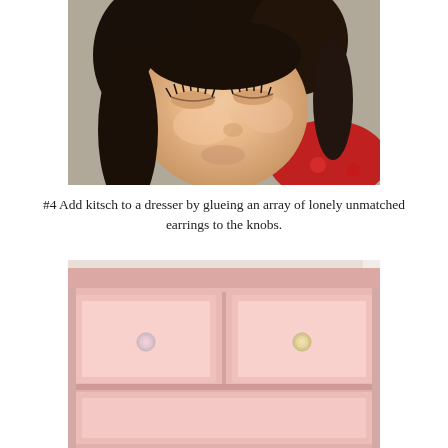[Figure (photo): Close-up photo of a young child with dark hair looking downward, with long eyelashes visible; wearing a red floral top]
#4 Add kitsch to a dresser by glueing an array of lonely unmatched earrings to the knobs.
[Figure (photo): Photo of a pink painted dresser with two upper drawers and decorative earring knobs; partial view of drawer faces]